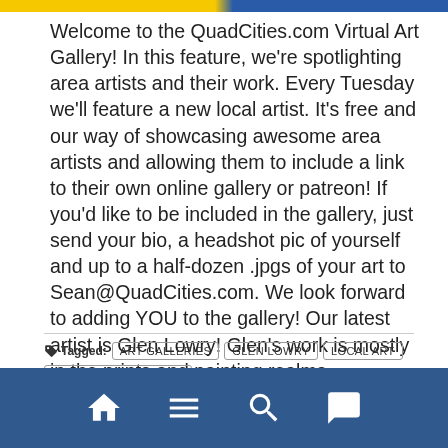Welcome to the QuadCities.com Virtual Art Gallery! In this feature, we're spotlighting area artists and their work. Every Tuesday we'll feature a new local artist. It's free and our way of showcasing awesome area artists and allowing them to include a link to their own online gallery or patreon! If you'd like to be included in the gallery, just send your bio, a headshot pic of yourself and up to a half-dozen .jpgs of your art to Sean@QuadCities.com. We look forward to adding YOU to the gallery! Our latest artist is Glen Lowry! Glen's work is mostly in the prints and painting realms,... Read More
Tagged: ART GALLERIES   GLEN LOWRY   LOCAL ART   LOCAL ART GALLERIES   LOCAL ARTISTS   QUADCITIES.COM VIRTUAL ART GALLERY